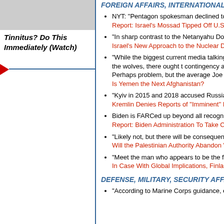[Figure (photo): Partial image at top left, appears to be a cropped advertisement photo]
Tinnitus? Do This Immediately (Watch)
FOREIGN AFFAIRS, INTERNATIONAL
NYT: "Pentagon spokesman declined to publicly confirm talks to restart the nuclear deal with Tehran." Report: Israel's Mossad Tipped Off U.S. Ahead in Syria
"In sharp contrast to the Netanyahu Doctrine." Israel's New Approach to the Nuclear Deal With
"While the biggest current media talking point is to the Gulf oil order from Iranian proxies is pote throw the Kingdom to the wolves, there ought t contingency against the possible shortage of 'fo defeated Saudi Arabia to ameliorate it. Perhaps problem, but the average Joe might." Is Yemen the Next Afghanistan?
"Kyiv in 2015 and 2018 accused Russia of prep both cases the prediction turned out to be false. Kremlin Denies Reports of "Imminent" Invasio
Biden is FARCed up beyond all recognition . . . Report: Biden Administration To Take Colombi Terrorist List
"Likely not, but there will be consequences." Will the Palestinian Authority Abandon "Pay-Fe
"Meet the man who appears to be the first in the on criminal charges for publishing long-held Ch In Case With Global Implications, Finland Puts
DEFENSE, MILITARY, SECURITY AFFAIRS
"According to Marine Corps guidance, even tho [Chinese] COVID-19 and have natural immu